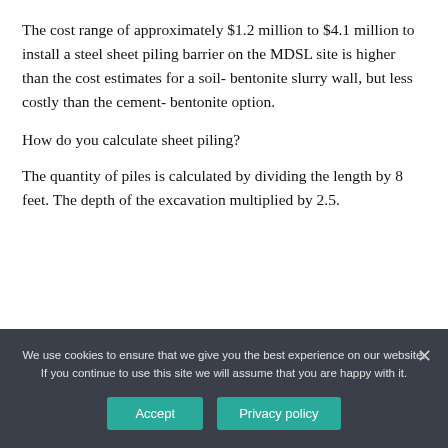The cost range of approximately $1.2 million to $4.1 million to install a steel sheet piling barrier on the MDSL site is higher than the cost estimates for a soil- bentonite slurry wall, but less costly than the cement- bentonite option.
How do you calculate sheet piling?
The quantity of piles is calculated by dividing the length by 8 feet. The depth of the excavation multiplied by 2.5.
We use cookies to ensure that we give you the best experience on our website. If you continue to use this site we will assume that you are happy with it.